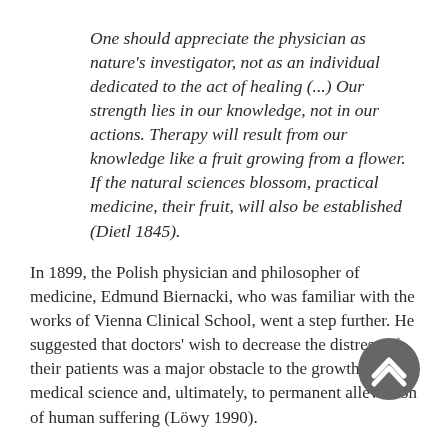One should appreciate the physician as nature's investigator, not as an individual dedicated to the act of healing (...) Our strength lies in our knowledge, not in our actions. Therapy will result from our knowledge like a fruit growing from a flower. If the natural sciences blossom, practical medicine, their fruit, will also be established (Dietl 1845).
In 1899, the Polish physician and philosopher of medicine, Edmund Biernacki, who was familiar with the works of Vienna Clinical School, went a step further. He suggested that doctors' wish to decrease the distress of their patients was a major obstacle to the growth of medical science and, ultimately, to permanent alleviation of human suffering (Löwy 1990).